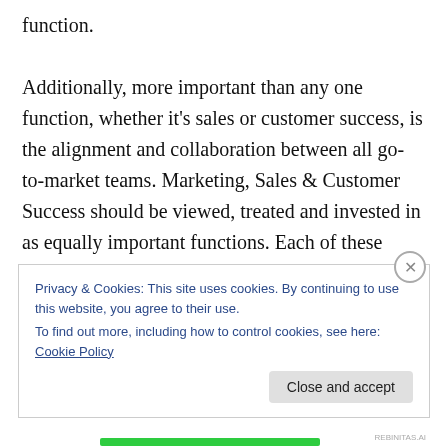function.
Additionally, more important than any one function, whether it's sales or customer success, is the alignment and collaboration between all go-to-market teams. Marketing, Sales & Customer Success should be viewed, treated and invested in as equally important functions. Each of these teams plays a critical role in the customer journey to build awareness, navigate the purchasing
Privacy & Cookies: This site uses cookies. By continuing to use this website, you agree to their use.
To find out more, including how to control cookies, see here: Cookie Policy
Close and accept